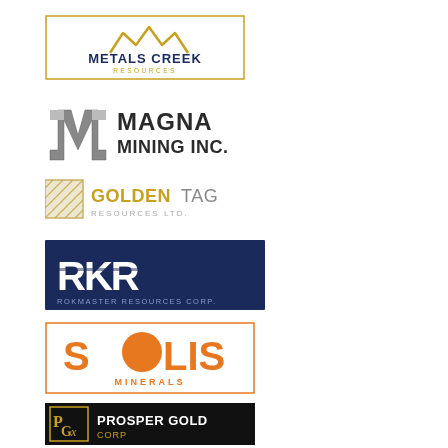[Figure (logo): Metals Creek Resources logo — gold mountain peaks icon above text 'METALS CREEK RESOURCES' in navy/gold, bordered rectangle]
[Figure (logo): Magna Mining Inc. logo — silver stylized 'M' icon with text 'MAGNA MINING INC.' in dark grey]
[Figure (logo): Golden Tag Resources Ltd. logo — gold/silver crosshatch square icon with text 'GOLDEN TAG RESOURCES LTD.' in gold and grey]
[Figure (logo): Rokmaster Resources Corp. logo — white 'RKR' letters on dark navy background with text 'ROKMASTER RESOURCES CORP.' below]
[Figure (logo): Solis Minerals logo — orange 'SOLIS' text with orange circle replacing the 'O', 'MINERALS' below in orange, bordered rectangle]
[Figure (logo): Prosper Gold Corp logo — 'PGX' monogram icon on black background with 'PROSPER GOLD CORP' text in white/gold]